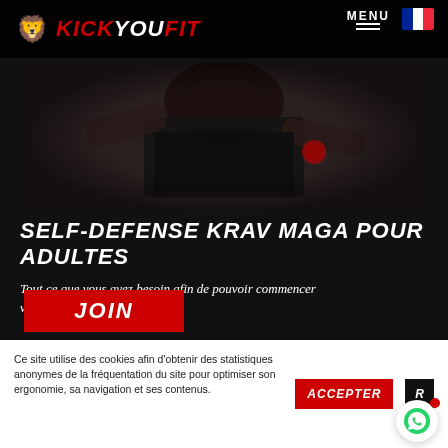KICK YOU FIT — MENU
[Figure (photo): Dark photo of a person in martial arts/Krav Maga stance, wearing black clothing, close-up showing body and arms]
SELF-DEFENSE KRAV MAGA POUR ADULTES
Tout ce que vous avez besoin afin de pouvoir commencer vos entrainements a la maison
JOIN
Ce site utilise des cookies afin d'obtenir des statistiques anonymes de la fréquentation du site pour optimiser son ergonomie, sa navigation et ses contenus.
ACCEPTER
R